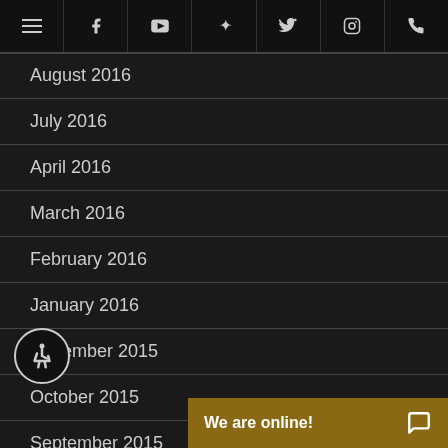Navigation bar with icons: menu, Facebook, YouTube, Yelp, Twitter, Instagram, Phone
August 2016
July 2016
April 2016
March 2016
February 2016
January 2016
November 2015
October 2015
September 2015
August 2015
July 2015
June 2015
[Figure (illustration): Accessibility wheelchair icon button, circular, bottom left]
We are online!